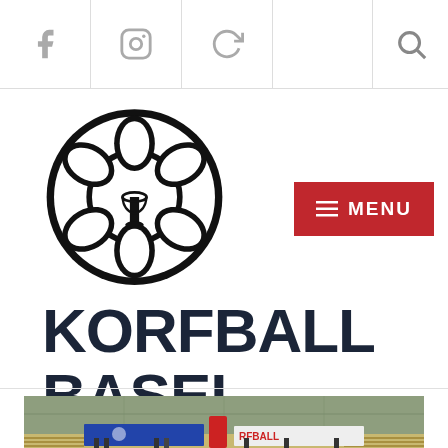Social icons (Facebook, Instagram, custom) and search icon navigation bar
[Figure (logo): Korfball Basel logo: black circle with korf (basket) silhouette inside a soccer-ball-like pattern]
KORFBALL BASEL
[Figure (photo): Indoor sports hall photo showing players holding banners/flags including a korfball banner, in a gymnasium with green walls and wooden gym bars]